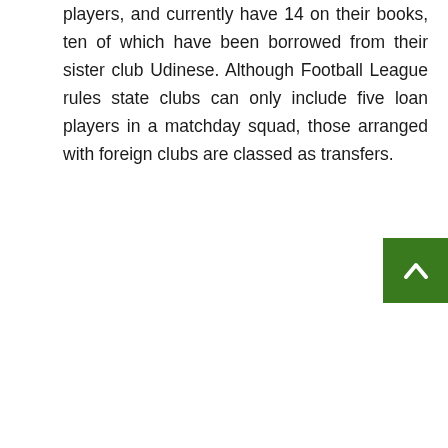players, and currently have 14 on their books, ten of which have been borrowed from their sister club Udinese. Although Football League rules state clubs can only include five loan players in a matchday squad, those arranged with foreign clubs are classed as transfers.
[Figure (other): Green back-to-top button with white upward-pointing chevron arrow]